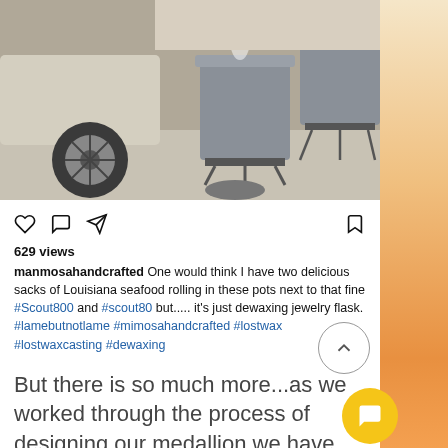[Figure (photo): Outdoor scene showing large metal pots/cauldrons on propane burners steaming, with an old vehicle tire visible on the left, in a garage or driveway setting.]
629 views
manmosahandcrafted One would think I have two delicious sacks of Louisiana seafood rolling in these pots next to that fine #Scout800 and #scout80 but..... it's just dewaxing jewelry flask. #lamebutnotlame #mimosahandcrafted #lostwax #lostwaxcasting #dewaxing
But there is so much more...as we worked through the process of designing our medallion we have gotten to see what a thoughtful, loving friend and leader that Madeline is to many.  We also got a glimpse into the